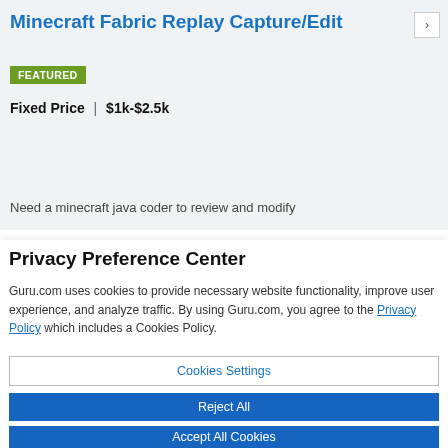Minecraft Fabric Replay Capture/Edit
FEATURED
Fixed Price | $1k-$2.5k
Need a minecraft java coder to review and modify
Privacy Preference Center
Guru.com uses cookies to provide necessary website functionality, improve user experience, and analyze traffic. By using Guru.com, you agree to the Privacy Policy which includes a Cookies Policy.
Cookies Settings
Reject All
Accept All Cookies